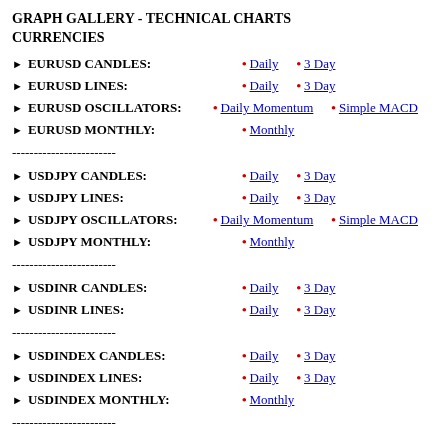GRAPH GALLERY - TECHNICAL CHARTS CURRENCIES
EURUSD CANDLES: • Daily • 3 Day
EURUSD LINES: • Daily • 3 Day
EURUSD OSCILLATORS: • Daily Momentum • Simple MACD
EURUSD MONTHLY: • Monthly
------------------------
USDJPY CANDLES: • Daily • 3 Day
USDJPY LINES: • Daily • 3 Day
USDJPY OSCILLATORS: • Daily Momentum • Simple MACD
USDJPY MONTHLY: • Monthly
------------------------
USDINR CANDLES: • Daily • 3 Day
USDINR LINES: • Daily • 3 Day
------------------------
USDINDEX CANDLES: • Daily • 3 Day
USDINDEX LINES: • Daily • 3 Day
USDINDEX MONTHLY: • Monthly
------------------------